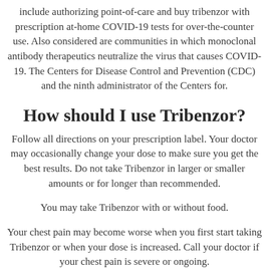include authorizing point-of-care and buy tribenzor with prescription at-home COVID-19 tests for over-the-counter use. Also considered are communities in which monoclonal antibody therapeutics neutralize the virus that causes COVID-19. The Centers for Disease Control and Prevention (CDC) and the ninth administrator of the Centers for.
How should I use Tribenzor?
Follow all directions on your prescription label. Your doctor may occasionally change your dose to make sure you get the best results. Do not take Tribenzor in larger or smaller amounts or for longer than recommended.
You may take Tribenzor with or without food.
Your chest pain may become worse when you first start taking Tribenzor or when your dose is increased. Call your doctor if your chest pain is severe or ongoing.